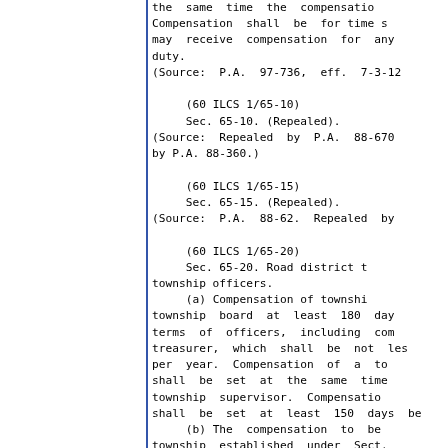the same time the compensation. Compensation shall be for time s may receive compensation for any duty.
(Source: P.A. 97-736, eff. 7-3-12
(60 ILCS 1/65-10)
    Sec. 65-10. (Repealed).
(Source: Repealed by P.A. 88-670 by P.A. 88-360.)
(60 ILCS 1/65-15)
    Sec. 65-15. (Repealed).
(Source: P.A. 88-62. Repealed by
(60 ILCS 1/65-20)
    Sec. 65-20. Road district t township officers.
    (a) Compensation of township board at least 180 day terms of officers, including com treasurer, which shall be not les per year. Compensation of a to shall be set at the same time township supervisor. Compensation shall be set at least 150 days be
    (b) The compensation to be township established under Sect. under this Section by the towns whole or a part of which comprise